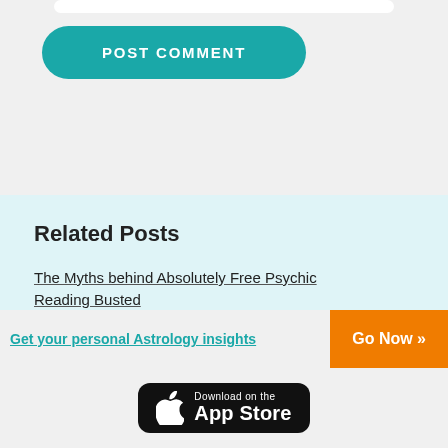[Figure (screenshot): POST COMMENT button with teal/green rounded pill shape and white uppercase bold text]
Related Posts
The Myths behind Absolutely Free Psychic Reading Busted
Free 5 Minute Psychic Reading
3 Valuable Steps To Have Successful Free Tarot...
Get your personal Astrology insights
[Figure (logo): Download on the App Store badge with Apple logo]